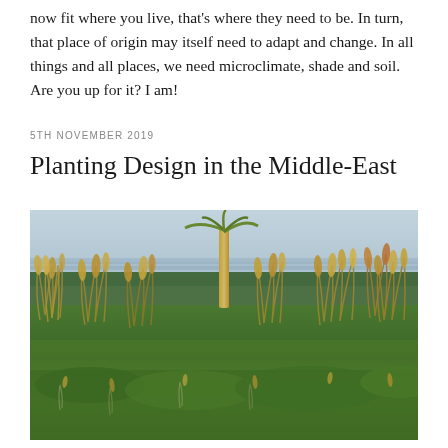now fit where you live, that's where they need to be. In turn, that place of origin may itself need to adapt and change. In all things and all places, we need microclimate, shade and soil. Are you up for it? I am!
5TH NOVEMBER 2019
Planting Design in the Middle-East
[Figure (photo): Photograph of ornamental grasses and low green groundcover in the foreground, with a palm tree in the middle ground, water and a distant shoreline in the background, and a hazy sky above.]